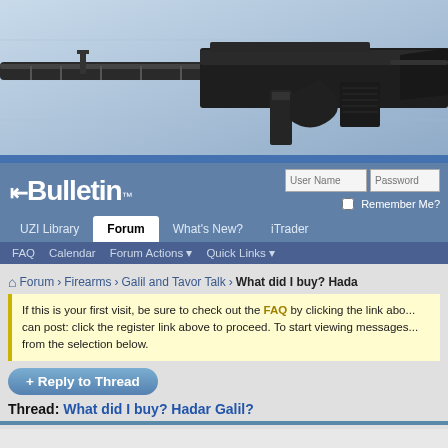[Figure (photo): Banner image showing a close-up of a firearm (appears to be an UZI or similar submachine gun) against a light blue background]
[Figure (screenshot): vBulletin forum header with logo, User Name and Password login fields, Remember Me checkbox, navigation tabs (UZI Library, Forum, What's New?, iTrader), and sub-navigation (FAQ, Calendar, Forum Actions, Quick Links)]
Forum > Firearms > Galil and Tavor Talk > What did I buy? Hada...
If this is your first visit, be sure to check out the FAQ by clicking the link abo... can post: click the register link above to proceed. To start viewing messages... from the selection below.
+ Reply to Thread
Thread: What did I buy? Hadar Galil?